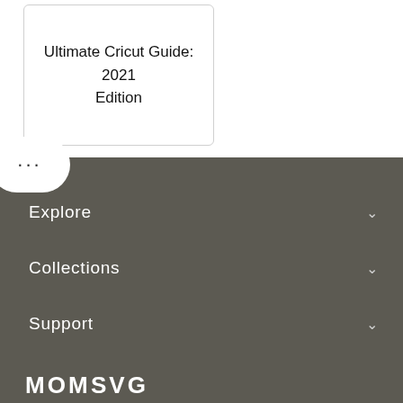Ultimate Cricut Guide: 2021 Edition
[Figure (other): Elliptical bubble/button with three dots (more options indicator)]
Explore
Collections
Support
Company
MOMSVG